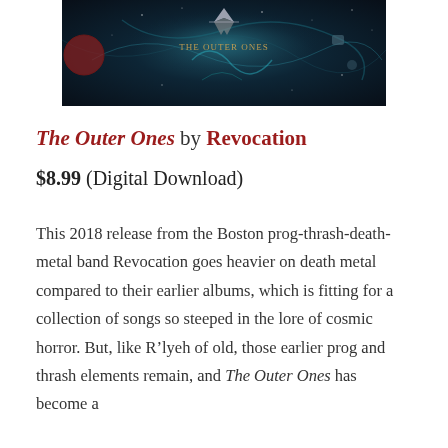[Figure (photo): Album cover artwork for 'The Outer Ones' by Revocation — a dark cosmic/space themed illustration with teal, dark blue tones, featuring the band name and album title text overlay]
The Outer Ones by Revocation
$8.99 (Digital Download)
This 2018 release from the Boston prog-thrash-death-metal band Revocation goes heavier on death metal compared to their earlier albums, which is fitting for a collection of songs so steeped in the lore of cosmic horror. But, like R'lyeh of old, those earlier prog and thrash elements remain, and The Outer Ones has become a